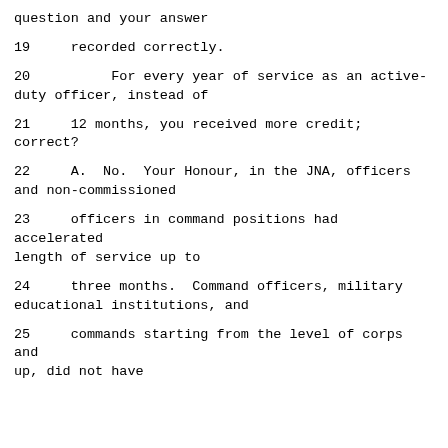question and your answer
19     recorded correctly.
20          For every year of service as an active-
duty officer, instead of
21     12 months, you received more credit; correct?
22     A.  No.  Your Honour, in the JNA, officers
and non-commissioned
23     officers in command positions had accelerated
length of service up to
24     three months.  Command officers, military
educational institutions, and
25     commands starting from the level of corps and
up, did not have